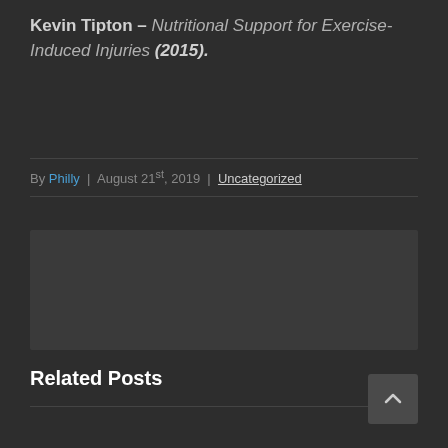Kevin Tipton – Nutritional Support for Exercise-Induced Injuries (2015).
By Philly | August 21st, 2019 | Uncategorized
[Figure (other): Placeholder image block, dark gray rectangle]
Related Posts